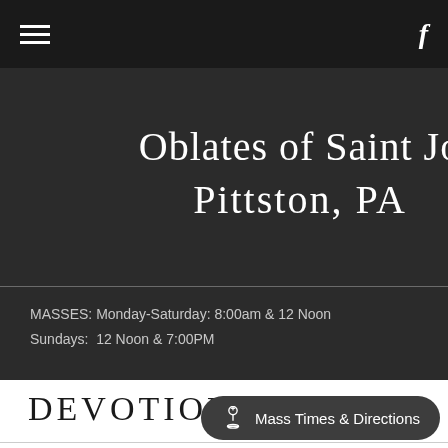Navigation bar with hamburger menu and Facebook icon
Oblates of Saint Jo
Pittston, PA
MASSES: Monday-Saturday: 8:00am & 12 Noon
Sundays:  12 Noon & 7:00PM
DEVOTIONS
[Figure (other): Mass Times & Directions button with chalice icon]